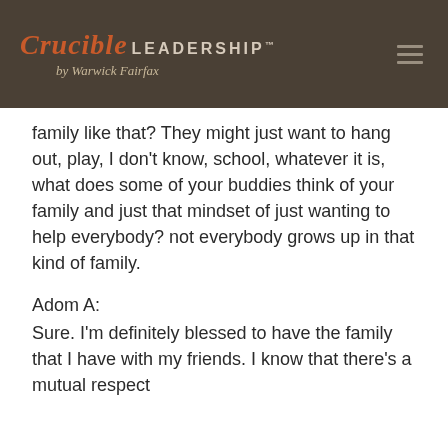Crucible LEADERSHIP™ by Warwick Fairfax
family like that? They might just want to hang out, play, I don't know, school, whatever it is, what does some of your buddies think of your family and just that mindset of just wanting to help everybody? not everybody grows up in that kind of family.
Adom A:
Sure. I'm definitely blessed to have the family that I have with my friends. I know that there's a mutual respect